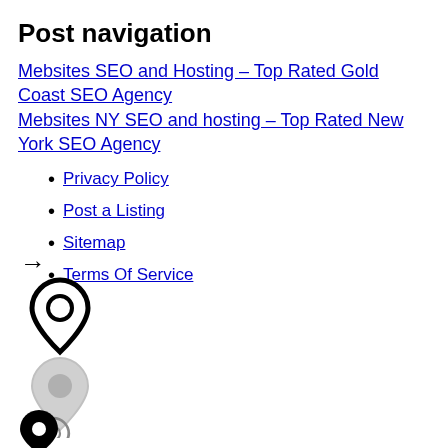Post navigation
Mebsites SEO and Hosting – Top Rated Gold Coast SEO Agency
Mebsites NY SEO and hosting – Top Rated New York SEO Agency
Privacy Policy
Post a Listing
Sitemap
Terms Of Service
[Figure (illustration): Arrow pointing right, followed by three map pin / location marker icons in varying styles (outlined, light gray, smaller outlined), and a solid black map pin icon at the bottom.]